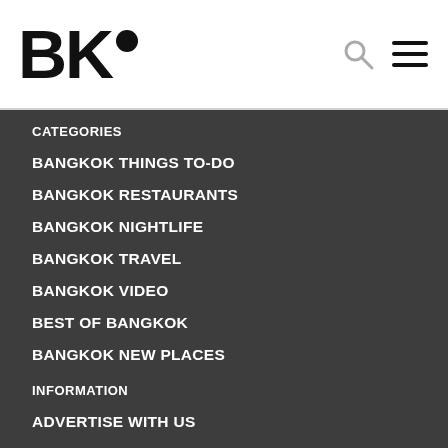BKO
CATEGORIES
BANGKOK THINGS TO-DO
BANGKOK RESTAURANTS
BANGKOK NIGHTLIFE
BANGKOK TRAVEL
BANGKOK VIDEO
BEST OF BANGKOK
BANGKOK NEW PLACES
INFORMATION
ADVERTISE WITH US
COCONUTS
GROVE: COCONUTS BRAND STUDIO
SOIMILK